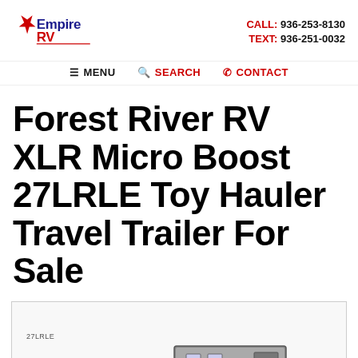Empire RV | CALL: 936-253-8130 | TEXT: 936-251-0032
MENU   SEARCH   CONTACT
Forest River RV XLR Micro Boost 27LRLE Toy Hauler Travel Trailer For Sale
[Figure (photo): Floorplan image area showing '27LRLE' label with partial view of a toy hauler trailer graphic at the bottom]